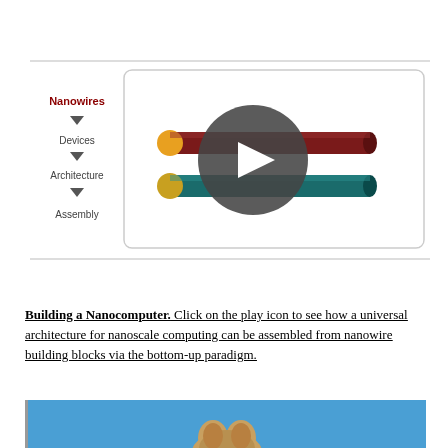[Figure (screenshot): Interactive diagram showing nanowire assembly steps: Nanowires → Devices → Architecture → Assembly, with a video play button overlay showing two nanowires (dark red/maroon on top, teal on bottom) crossing each other.]
Building a Nanocomputer. Click on the play icon to see how a universal architecture for nanoscale computing can be assembled from nanowire building blocks via the bottom-up paradigm.
[Figure (photo): Partial photo showing what appears to be an animal figure (possibly a squirrel or similar creature) against a blue sky background.]